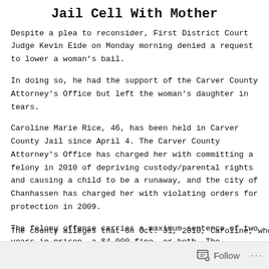Jail Cell With Mother
Despite a plea to reconsider, First District Court Judge Kevin Eide on Monday morning denied a request to lower a woman's bail.
In doing so, he had the support of the Carver County Attorney's Office but left the woman's daughter in tears.
Caroline Marie Rice, 46, has been held in Carver County Jail since April 4. The Carver County Attorney's Office has charged her with committing a felony in 2010 of depriving custody/parental rights and causing a child to be a runaway, and the city of Chanhassen has charged her with violating orders for protection in 2009.
The felony offense carries a maximum sentence of two years in prison, a $4,000 fine, or both. The misdemeanors carry a maximum sentence of up to 90 days in jail, a $1,000 fine, or both.
The county alleges that on Oct. 31, 2010, Caroline, who divorced her...